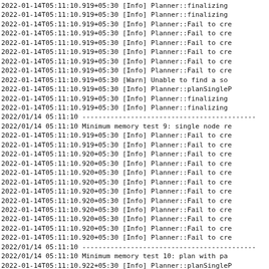2022-01-14T05:11:10.919+05:30 [Info] Planner::finalizing
2022-01-14T05:11:10.919+05:30 [Info] Planner::finalizing
2022-01-14T05:11:10.919+05:30 [Info] Planner::Fail to cre
2022-01-14T05:11:10.919+05:30 [Info] Planner::Fail to cre
2022-01-14T05:11:10.919+05:30 [Info] Planner::Fail to cre
2022-01-14T05:11:10.919+05:30 [Info] Planner::Fail to cre
2022-01-14T05:11:10.919+05:30 [Info] Planner::Fail to cre
2022-01-14T05:11:10.919+05:30 [Info] Planner::Fail to cre
2022-01-14T05:11:10.919+05:30 [Warn] Unable to find a so
2022-01-14T05:11:10.919+05:30 [Info] Planner::planSingleP
2022-01-14T05:11:10.919+05:30 [Info] Planner::finalizing
2022-01-14T05:11:10.919+05:30 [Info] Planner::finalizing
2022/01/14 05:11:10 -------------------------------------------
2022/01/14 05:11:10 Minimum memory test 9: single node re
2022-01-14T05:11:10.919+05:30 [Info] Planner::Fail to cre
2022-01-14T05:11:10.919+05:30 [Info] Planner::Fail to cre
2022-01-14T05:11:10.920+05:30 [Info] Planner::Fail to cre
2022-01-14T05:11:10.920+05:30 [Info] Planner::Fail to cre
2022-01-14T05:11:10.920+05:30 [Info] Planner::Fail to cre
2022-01-14T05:11:10.920+05:30 [Info] Planner::Fail to cre
2022-01-14T05:11:10.920+05:30 [Info] Planner::Fail to cre
2022-01-14T05:11:10.920+05:30 [Info] Planner::Fail to cre
2022-01-14T05:11:10.920+05:30 [Info] Planner::Fail to cre
2022-01-14T05:11:10.920+05:30 [Info] Planner::Fail to cre
2022-01-14T05:11:10.920+05:30 [Info] Planner::Fail to cre
2022-01-14T05:11:10.920+05:30 [Info] Planner::Fail to cre
2022/01/14 05:11:10 -------------------------------------------
2022/01/14 05:11:10 Minimum memory test 10: plan with pa
2022-01-14T05:11:10.922+05:30 [Info] Planner::planSingleP
2022-01-14T05:11:10.965+05:30 [Info] Planner::finalizing
2022/01/14 05:11:10